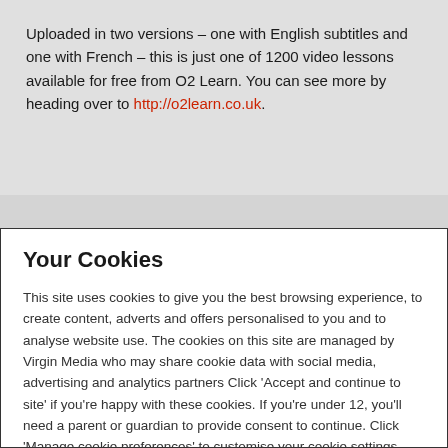Uploaded in two versions – one with English subtitles and one with French – this is just one of 1200 video lessons available for free from O2 Learn. You can see more by heading over to http://o2learn.co.uk.
Your Cookies
This site uses cookies to give you the best browsing experience, to create content, adverts and offers personalised to you and to analyse website use. The cookies on this site are managed by Virgin Media who may share cookie data with social media, advertising and analytics partners Click 'Accept and continue to site' if you're happy with these cookies. If you're under 12, you'll need a parent or guardian to provide consent to continue. Click 'Manage cookie preferences' to customise your cookie settings. For more details, see the cookie policy.